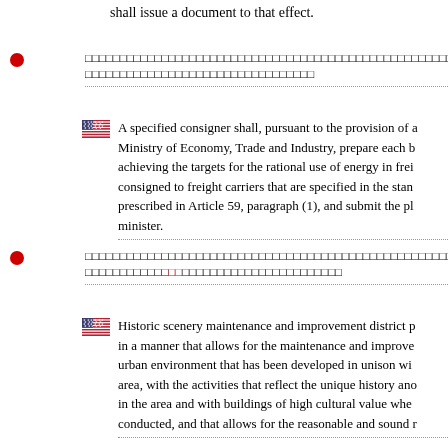shall issue a document to that effect.
（Japanese text — specified consigner provision）
A specified consigner shall, pursuant to the provision of a Ministry of Economy, Trade and Industry, prepare each b achieving the targets for the rational use of energy in frei consigned to freight carriers that are specified in the stan prescribed in Article 59, paragraph (1), and submit the pl minister.
（Japanese text — historic scenery maintenance）
Historic scenery maintenance and improvement district p in a manner that allows for the maintenance and improve urban environment that has been developed in unison wit area, with the activities that reflect the unique history ano in the area and with buildings of high cultural value whe conducted, and that allows for the reasonable and sound r
（Japanese text — competent minister provision）
The competent minister may, when he/she finds this nece promote reduction of waste containers and packaging dis